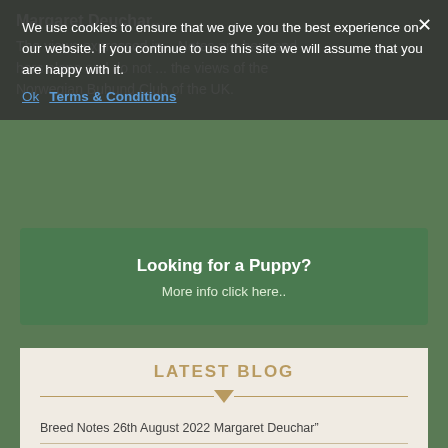Margaret Deuchar... The views expressed in ... Notes are hers and hers alone and do not ... the views of the Norwegian Buhund Club of the UK.
We use cookies to ensure that we give you the best experience on our website. If you continue to use this site we will assume that you are happy with it.
Ok   Terms & Conditions
Looking for a Puppy?
More info click here..
LATEST BLOG
Breed Notes 26th August 2022 Margaret Deuchar"
Breed Notes 19th August 2022 Margaret Deuchar"